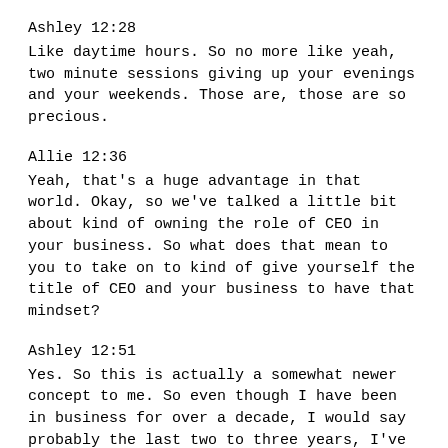Ashley 12:28
Like daytime hours. So no more like yeah, two minute sessions giving up your evenings and your weekends. Those are, those are so precious.
Allie 12:36
Yeah, that's a huge advantage in that world. Okay, so we've talked a little bit about kind of owning the role of CEO in your business. So what does that mean to you to take on to kind of give yourself the title of CEO and your business to have that mindset?
Ashley 12:51
Yes. So this is actually a somewhat newer concept to me. So even though I have been in business for over a decade, I would say probably the last two to three years, I've really learned what it means to step into that role as CEO. And basically what that means is that, yes, you are the photographer in the